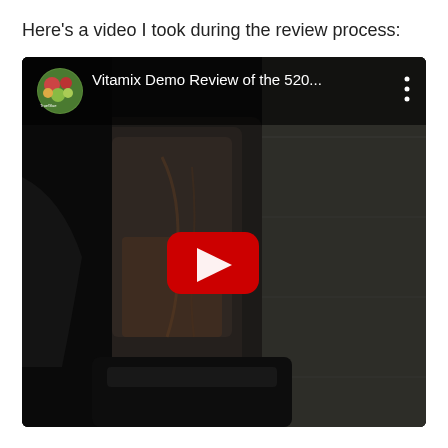Here's a video I took during the review process:
[Figure (screenshot): YouTube video embed showing a Vitamix blender demo review. The video thumbnail is very dark, showing a blender (Vitamix 520) in a dim kitchen setting. The top bar shows the channel icon and title 'Vitamix Demo Review of the 520...' with a three-dot menu. A red YouTube play button is centered on the video.]